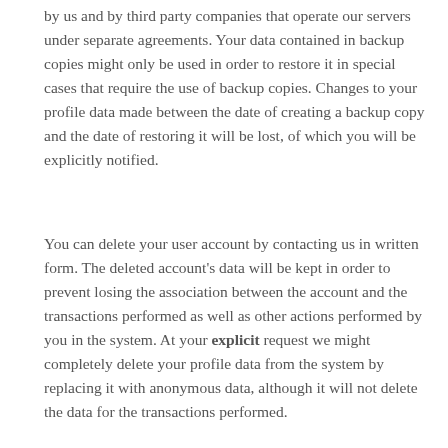by us and by third party companies that operate our servers under separate agreements. Your data contained in backup copies might only be used in order to restore it in special cases that require the use of backup copies. Changes to your profile data made between the date of creating a backup copy and the date of restoring it will be lost, of which you will be explicitly notified.
You can delete your user account by contacting us in written form. The deleted account's data will be kept in order to prevent losing the association between the account and the transactions performed as well as other actions performed by you in the system. At your explicit request we might completely delete your profile data from the system by replacing it with anonymous data, although it will not delete the data for the transactions performed.